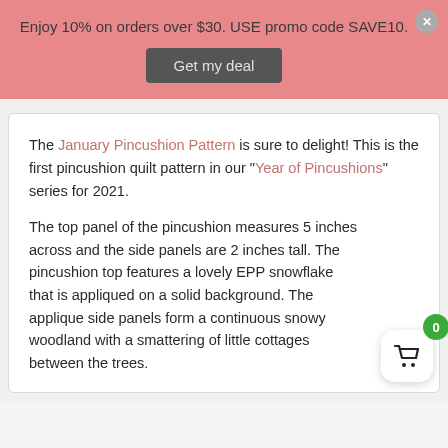Enjoy 10% on orders over $30. USE promo code SAVE10.
Get my deal
The January Pincushion Pattern is sure to delight! This is the first pincushion quilt pattern in our "Year of Pincushions" series for 2021.
The top panel of the pincushion measures 5 inches across and the side panels are 2 inches tall. The pincushion top features a lovely EPP snowflake that is appliqued on a solid background. The applique side panels form a continuous snowy woodland with a smattering of little cottages between the trees.